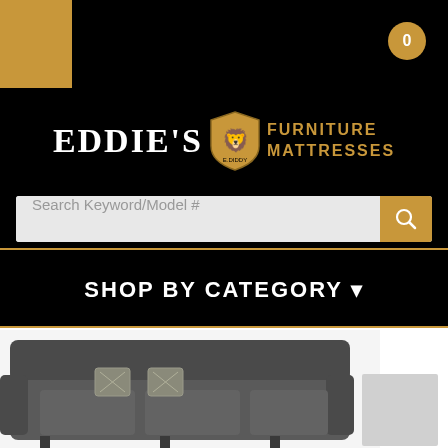[Figure (screenshot): Eddie's Furniture & Mattresses website header with black background, gold square accent top-left, cart icon top-right]
EDDIE'S FURNITURE MATTRESSES
Search Keyword/Model #
SHOP BY CATEGORY
[Figure (photo): Dark grey sofa with decorative pillows, partially visible at bottom of page]